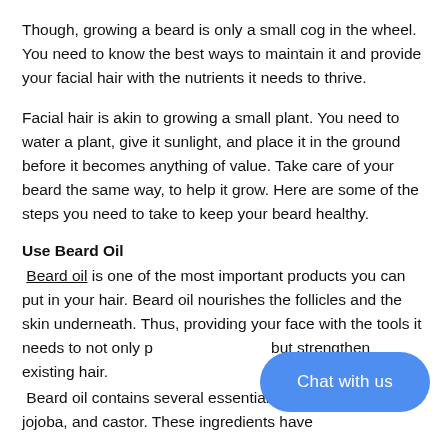Though, growing a beard is only a small cog in the wheel. You need to know the best ways to maintain it and provide your facial hair with the nutrients it needs to thrive.
Facial hair is akin to growing a small plant. You need to water a plant, give it sunlight, and place it in the ground before it becomes anything of value. Take care of your beard the same way, to help it grow. Here are some of the steps you need to take to keep your beard healthy.
Use Beard Oil
Beard oil is one of the most important products you can put in your hair. Beard oil nourishes the follicles and the skin underneath. Thus, providing your face with the tools it needs to not only p… but strengthen existing hair.
Beard oil contains several essential oils like grape seed, jojoba, and castor. These ingredients have